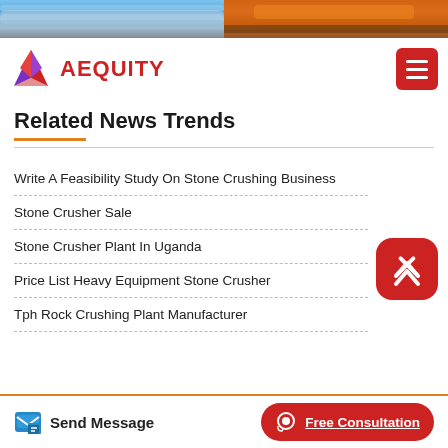[Figure (photo): Two industrial images side by side: left shows pipes/tubes in a facility, right shows orange industrial machinery/equipment.]
AEQUITY
Related News Trends
Write A Feasibility Study On Stone Crushing Business
Stone Crusher Sale
Stone Crusher Plant In Uganda
Price List Heavy Equipment Stone Crusher
Tph Rock Crushing Plant Manufacturer
Send Message
Free Consultation